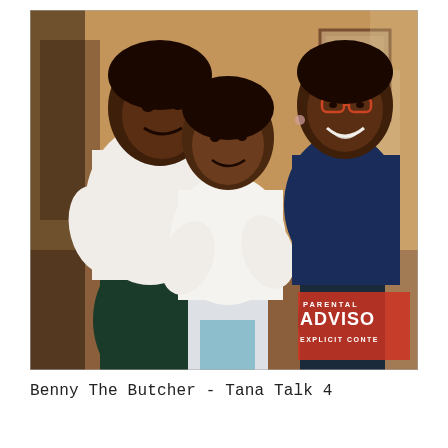[Figure (illustration): Album cover painting for Benny The Butcher - Tana Talk 4. Oil painting style illustration showing three people in an indoor setting. On the left, a person in a white shirt and dark pants leaning forward. In the center, a shorter person with arms crossed wearing a white long-sleeve shirt and light pants with a blue/teal accent. On the right, a person in a dark navy blue long-sleeve shirt and dark pants wearing glasses. Background shows warm tan/brown interior with furniture. Bottom right corner shows a Parental Advisory Explicit Content logo partially visible.]
Benny The Butcher - Tana Talk 4